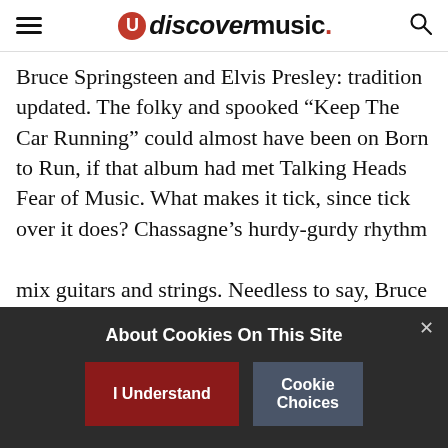uDiscover Music
Bruce Springsteen and Elvis Presley: tradition updated. The folky and spooked “Keep The Car Running” could almost have been on Born to Run, if that album had met Talking Heads Fear of Music. What makes it tick, since tick over it does? Chassagne’s hurdy-gurdy rhythm is essential but so are the almost buried in the mix guitars and strings. Needless to say, Bruce and Arcade’s Win Butler and Chassagne have played it together in Ottawa and Foo Fighters have it covered.
[partially visible bottom text]
About Cookies On This Site
I Understand
Cookie Choices